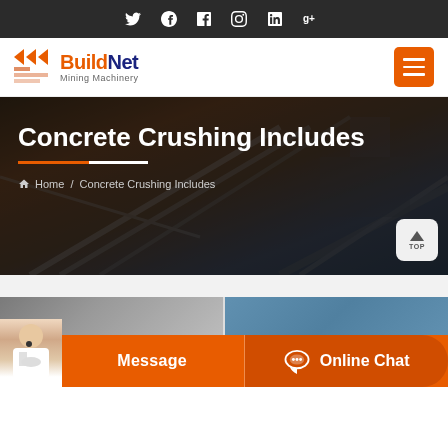Social icons: Twitter, Google+, Facebook, Instagram, LinkedIn
[Figure (logo): BuildNet Mining Machinery logo with orange triangle icon and nav bar with hamburger menu]
Concrete Crushing Includes
Home / Concrete Crushing Includes
[Figure (photo): Construction machinery site with conveyor belts and scaffolding in background]
[Figure (photo): Bottom CTA bar with Message and Online Chat buttons, customer service person overlay]